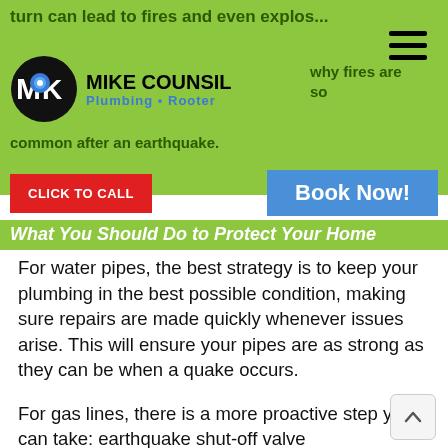turn can lead to fires and even explos... why fires are so common after an earthquake.
[Figure (logo): Mike Counsil Plumbing Rooter logo with circular MK icon and blue plumbing icon]
CLICK TO CALL
Book Now!
What You Should Do to Protect Your Home
For water pipes, the best strategy is to keep your plumbing in the best possible condition, making sure repairs are made quickly whenever issues arise. This will ensure your pipes are as strong as they can be when a quake occurs.
For gas lines, there is a more proactive step you can take: earthquake shut-off valve